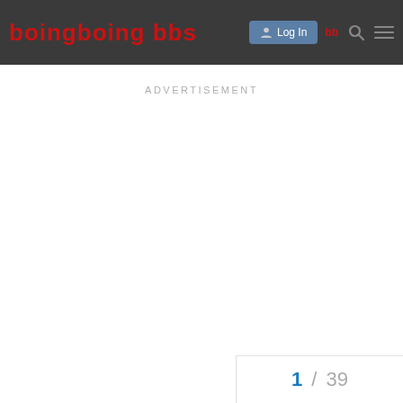boingboing bbs — Log In navigation bar
ADVERTISEMENT
1 / 39